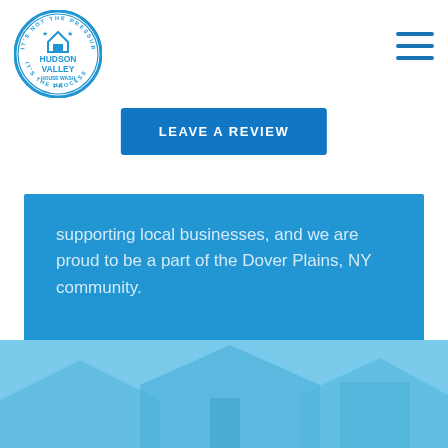[Figure (logo): Hudson Valley House Wash LLC circular logo in blue and white]
[Figure (other): Hamburger menu icon, three horizontal blue lines]
LEAVE A REVIEW
supporting local businesses, and we are proud to be a part of the Dover Plains, NY community.
[Figure (photo): Light blue toned photo of house roofline and siding at bottom of page]